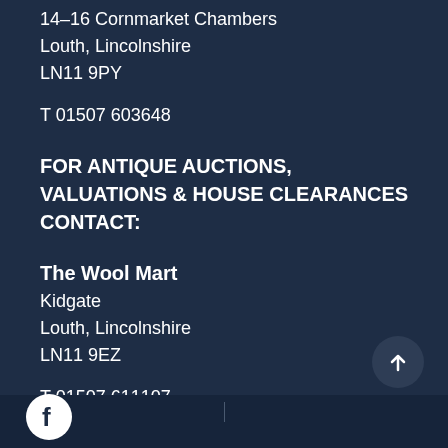14–16 Cornmarket Chambers
Louth, Lincolnshire
LN11 9PY
T 01507 603648
FOR ANTIQUE AUCTIONS, VALUATIONS & HOUSE CLEARANCES CONTACT:
The Wool Mart
Kidgate
Louth, Lincolnshire
LN11 9EZ
T 01507 611107